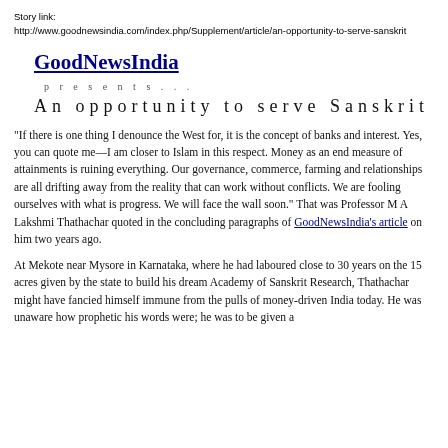Story link:
http://www.goodnewsindia.com/index.php/Supplement/article/an-opportunity-to-serve-sanskrit
GoodNewsIndia
p r e s e n t s . . .
An opportunity to serve Sanskrit
“If there is one thing I denounce the West for, it is the concept of banks and interest. Yes, you can quote me—I am closer to Islam in this respect. Money as an end measure of attainments is ruining everything. Our governance, commerce, farming and relationships are all drifting away from the reality that can work without conflicts. We are fooling ourselves with what is progress. We will face the wall soon.” That was Professor M A Lakshmi Thathachar quoted in the concluding paragraphs of GoodNewsIndia’s article on him two years ago.
At Mekote near Mysore in Karnataka, where he had laboured close to 30 years on the 15 acres given by the state to build his dream Academy of Sanskrit Research, Thathachar might have fancied himself immune from the pulls of money-driven India today. He was unaware how prophetic his words were; he was to be given a